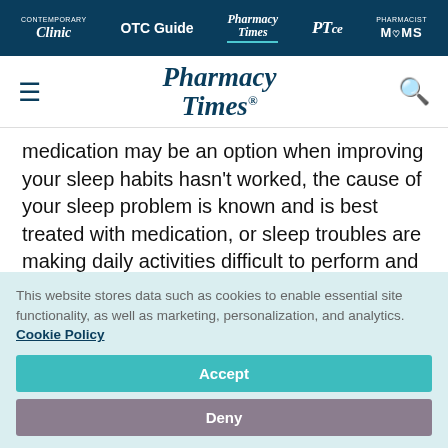Clinic | OTC Guide | Pharmacy Times | PTce | PHARMACIST MOMS
[Figure (logo): Pharmacy Times logo with hamburger menu and search icon]
medication may be an option when improving your sleep habits hasn't worked, the cause of your sleep problem is known and is best treated with medication, or sleep troubles are making daily activities difficult to perform and the
This website stores data such as cookies to enable essential site functionality, as well as marketing, personalization, and analytics. Cookie Policy
Accept
Deny